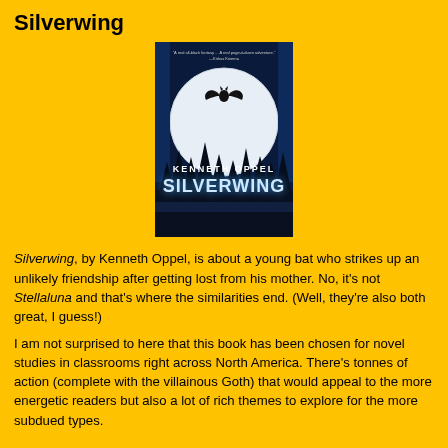Silverwing
[Figure (photo): Book cover of 'Silverwing' by Kenneth Oppel, showing a bat flying in front of a large full moon against a dark blue night sky, with silhouetted trees at the bottom. The title 'SILVERWING' appears in large white text and 'KENNETH OPPEL' is shown above it.]
Silverwing, by Kenneth Oppel, is about a young bat who strikes up an unlikely friendship after getting lost from his mother. No, it's not Stellaluna and that's where the similarities end. (Well, they're also both great, I guess!)
I am not surprised to here that this book has been chosen for novel studies in classrooms right across North America. There's tonnes of action (complete with the villainous Goth) that would appeal to the more energetic readers but also a lot of rich themes to explore for the more subdued types.